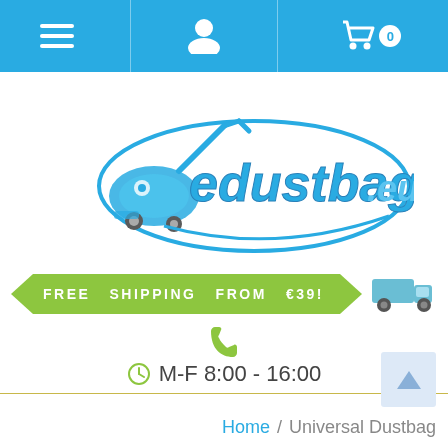Navigation bar with menu, user, and cart icons
[Figure (logo): edustbag.eu logo with vacuum cleaner illustration and blue oval ellipse]
[Figure (infographic): Green banner reading FREE SHIPPING FROM €39! with truck icon]
[Figure (infographic): Phone icon in green]
M-F 8:00 - 16:00
[Figure (infographic): Back to top arrow button]
Home / Universal Dustbag